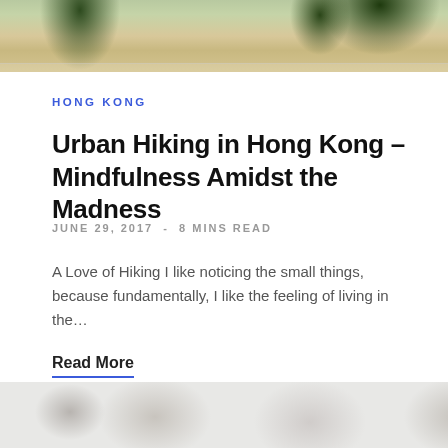[Figure (photo): Top portion of a photo showing an outdoor paved area with trees and people walking, with green foliage visible at the top]
HONG KONG
Urban Hiking in Hong Kong – Mindfulness Amidst the Madness
JUNE 29, 2017  -  8 MINS READ
A Love of Hiking I like noticing the small things, because fundamentally, I like the feeling of living in the...
Read More
[Figure (photo): Bottom portion of a partially visible photo, showing blurred circular shapes on a light gray background]